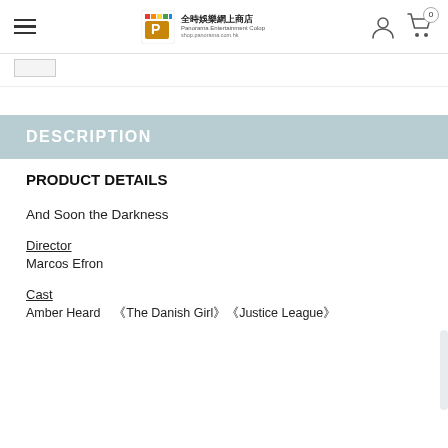全時娛樂網上商店 Panorama Entertainment Colop shop.panorama.com.hk
DESCRIPTION
PRODUCT DETAILS
And Soon the Darkness
Director
Marcos Efron
Cast
Amber Heard　《The Danish Girl》《Justice League》